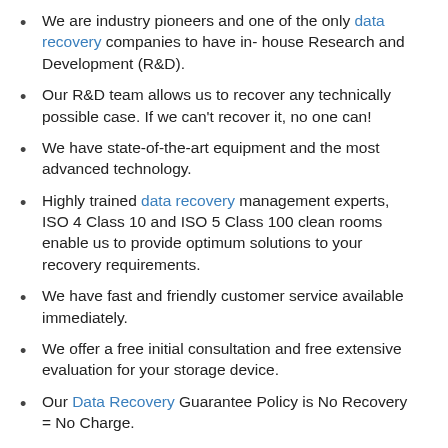We are industry pioneers and one of the only data recovery companies to have in- house Research and Development (R&D).
Our R&D team allows us to recover any technically possible case. If we can’t recover it, no one can!
We have state-of-the-art equipment and the most advanced technology.
Highly trained data recovery management experts, ISO 4 Class 10 and ISO 5 Class 100 clean rooms enable us to provide optimum solutions to your recovery requirements.
We have fast and friendly customer service available immediately.
We offer a free initial consultation and free extensive evaluation for your storage device.
Our Data Recovery Guarantee Policy is No Recovery = No Charge.